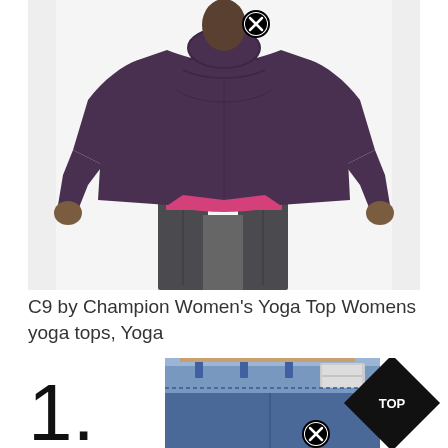[Figure (photo): A woman wearing a dark purple/eggplant long-sleeve yoga top layered over a hot pink top, with dark gray leggings. White circular close/remove icon overlay at top center of image.]
C9 by Champion Women's Yoga Top Womens yoga tops, Yoga
[Figure (photo): Partial view of someone wearing dark blue high-waist jeans, showing waistband area with metallic detail. Large '1.' number on left. Black diamond 'TOP' badge on right. White circular close/remove icon overlay at bottom center.]